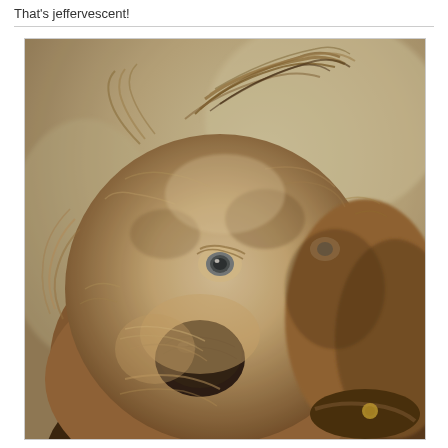That's jeffervescent!
[Figure (photo): Close-up photo of a shaggy, wire-haired terrier-mix dog with windswept fur on its head, looking slightly upward with wide eyes. The dog has a dark nose, scruffy beige and brown fur, and is wearing a collar. The background is a soft blurred beige/green tone, giving the image a vintage Instagram-style filter effect.]